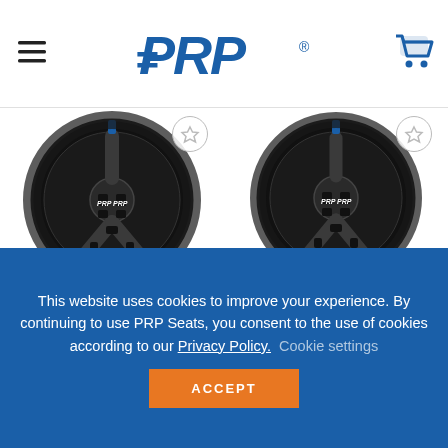PRP Seats - Navigation header with hamburger menu and cart icon
[Figure (photo): Black suede deep dish steering wheel with PRP logo, three spokes, blue accent stripe at top]
ACCESSORIES
Deep Dish Steering Wheel – Suede
$176.99
[Figure (photo): Black suede flat steering wheel with PRP logo, three spokes, blue accent stripe at top]
ACCESSORIES
Flat Steering Wheel – Suede
$176.99
This website uses cookies to improve your experience. By continuing to use PRP Seats, you consent to the use of cookies according to our Privacy Policy.  Cookie settings ACCEPT